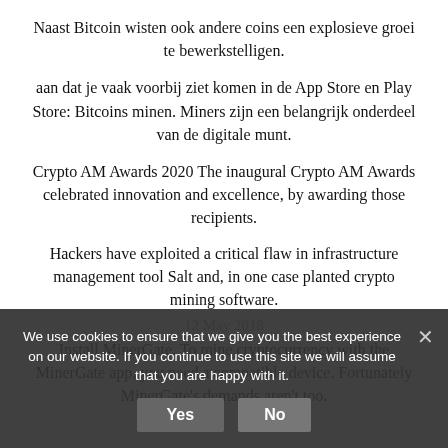Naast Bitcoin wisten ook andere coins een explosieve groei te bewerkstelligen.
aan dat je vaak voorbij ziet komen in de App Store en Play Store: Bitcoins minen. Miners zijn een belangrijk onderdeel van de digitale munt.
Crypto AM Awards 2020 The inaugural Crypto AM Awards celebrated innovation and excellence, by awarding those recipients.
Hackers have exploited a critical flaw in infrastructure management tool Salt and, in one case planted crypto mining software.
12 May 2018
Install MinerGate. To mine cryptocurrency with the MinerGate app, you need a compatible device. Fortunately MinerGate's demands aren't too.
We use cookies to ensure that we give you the best experience on our website. If you continue to use this site we will assume that you are happy with it.